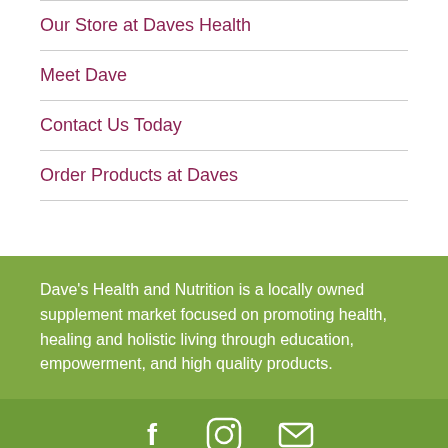Our Store at Daves Health
Meet Dave
Contact Us Today
Order Products at Daves
Dave's Health and Nutrition is a locally owned supplement market focused on promoting health, healing and holistic living through education, empowerment, and high quality products.
[Figure (infographic): Social media icons: Facebook, Instagram, Email]
Open Monday – Saturday, 9 am – 6 pm